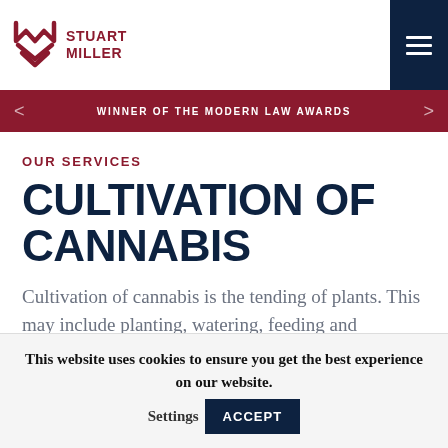STUART MILLER
WINNER OF THE MODERN LAW AWARDS
OUR SERVICES
CULTIVATION OF CANNABIS
Cultivation of cannabis is the tending of plants. This may include planting, watering, feeding and nurturing them.
This website uses cookies to ensure you get the best experience on our website. Settings ACCEPT